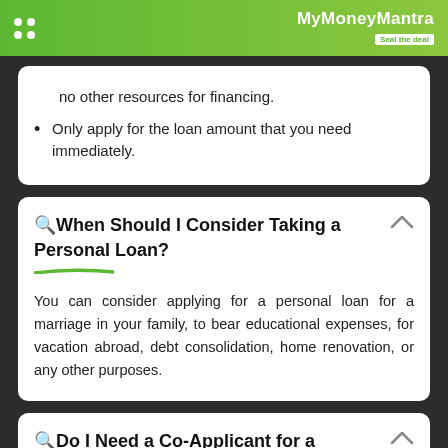MyMoneyMantra – Seal the deal
no other resources for financing.
Only apply for the loan amount that you need immediately.
🔍When Should I Consider Taking a Personal Loan?
You can consider applying for a personal loan for a marriage in your family, to bear educational expenses, for vacation abroad, debt consolidation, home renovation, or any other purposes.
🔍Do I Need a Co-Applicant for a Personal Loan?